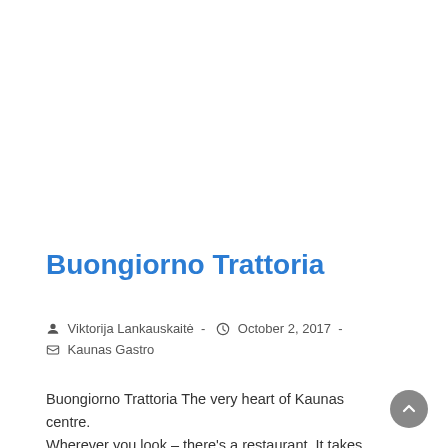Buongiorno Trattoria
Viktorija Lankauskaitė  -  October 2, 2017  -  Kaunas Gastro
Buongiorno Trattoria The very heart of Kaunas centre. Wherever you look – there's a restaurant. It takes patience